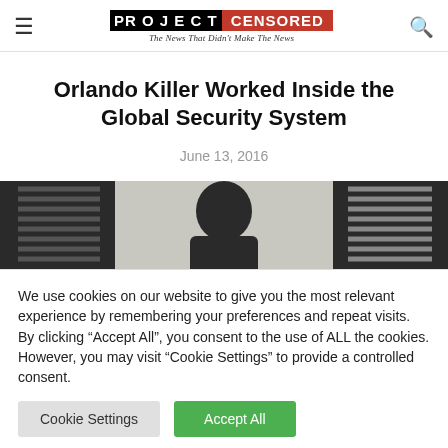PROJECT CENSORED — The News That Didn't Make The News
Orlando Killer Worked Inside the Global Security System
June 13, 2016
[Figure (photo): Dark header image showing a person's silhouette against a light background, with decorative metallic vent/grille panels on left and right sides.]
We use cookies on our website to give you the most relevant experience by remembering your preferences and repeat visits. By clicking "Accept All", you consent to the use of ALL the cookies. However, you may visit "Cookie Settings" to provide a controlled consent.